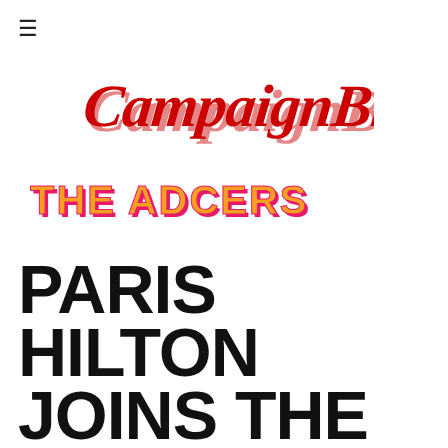[Figure (logo): Hamburger menu icon (three horizontal lines) in top left corner]
[Figure (logo): Campaign Brief logo in red cursive/script lettering]
[Figure (logo): THE ADCERS logo in bold orange letters with hot-pink/red shadow offset]
PARIS HILTON JOINS THE IRWINS AS THEIR NEW ZOOKEEPER IN LATEST UBER EATS CAMPAIGN VIA